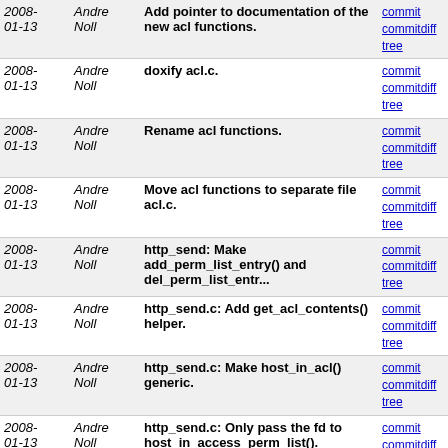| Date | Author | Message | Links |
| --- | --- | --- | --- |
| 2008-01-13 | Andre Noll | Add pointer to documentation of the new acl functions. | commit | commitdiff | tree |
| 2008-01-13 | Andre Noll | doxify acl.c. | commit | commitdiff | tree |
| 2008-01-13 | Andre Noll | Rename acl functions. | commit | commitdiff | tree |
| 2008-01-13 | Andre Noll | Move acl functions to separate file acl.c. | commit | commitdiff | tree |
| 2008-01-13 | Andre Noll | http_send: Make add_perm_list_entry() and del_perm_list_entr... | commit | commitdiff | tree |
| 2008-01-13 | Andre Noll | http_send.c: Add get_acl_contents() helper. | commit | commitdiff | tree |
| 2008-01-13 | Andre Noll | http_send.c: Make host_in_acl() generic. | commit | commitdiff | tree |
| 2008-01-13 | Andre Noll | http_send.c: Only pass the fd to host_in_access_perm_list(). | commit | commitdiff | tree |
| 2008-01-13 | Andre Noll | http_send.c: Make init_access_control_list() generic. | commit | commitdiff | tree |
| 2008-01-13 | Andre Noll | http_send: Rename access_perm_list to http_acl. | commit | commitdiff | tree |
| 2008-01-12 | Andre Noll | new codename, reset version to git | commit | commitdiff | tree |
| 2008-01-12 | Andre Noll | the paraslash-0.3.0 release tarball | commit | commitdiff | tree |
| 2008-01-12 | Andre Noll | paraslash 0.3.0 | commit | commitdiff | tree |